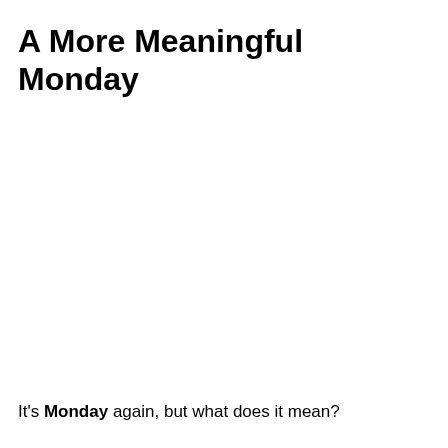A More Meaningful Monday
It's Monday again, but what does it mean?